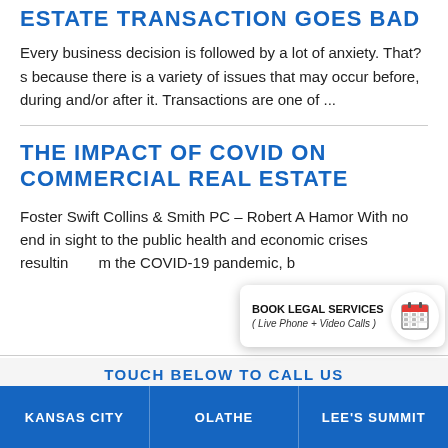ESTATE TRANSACTION GOES BAD
Every business decision is followed by a lot of anxiety. That?s because there is a variety of issues that may occur before, during and/or after it. Transactions are one of ...
THE IMPACT OF COVID ON COMMERCIAL REAL ESTATE
Foster Swift Collins & Smith PC – Robert A Hamor With no end in sight to the public health and economic crises resultin... m the COVID-19 pandemic, b...
[Figure (screenshot): Popup overlay with 'BOOK LEGAL SERVICES (Live Phone + Video Calls)' and a calendar icon button]
TOUCH BELOW TO CALL US
KANSAS CITY | OLATHE | LEE'S SUMMIT